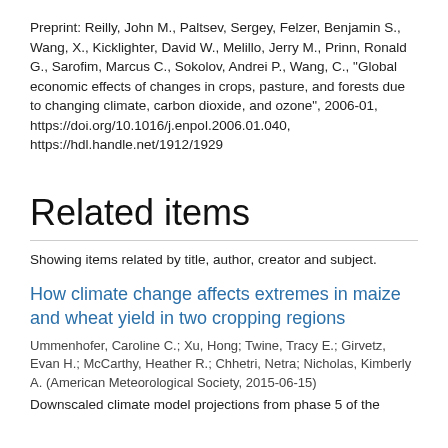Preprint: Reilly, John M., Paltsev, Sergey, Felzer, Benjamin S., Wang, X., Kicklighter, David W., Melillo, Jerry M., Prinn, Ronald G., Sarofim, Marcus C., Sokolov, Andrei P., Wang, C., "Global economic effects of changes in crops, pasture, and forests due to changing climate, carbon dioxide, and ozone", 2006-01, https://doi.org/10.1016/j.enpol.2006.01.040, https://hdl.handle.net/1912/1929
Related items
Showing items related by title, author, creator and subject.
How climate change affects extremes in maize and wheat yield in two cropping regions
Ummenhofer, Caroline C.; Xu, Hong; Twine, Tracy E.; Girvetz, Evan H.; McCarthy, Heather R.; Chhetri, Netra; Nicholas, Kimberly A. (American Meteorological Society, 2015-06-15)
Downscaled climate model projections from phase 5 of the